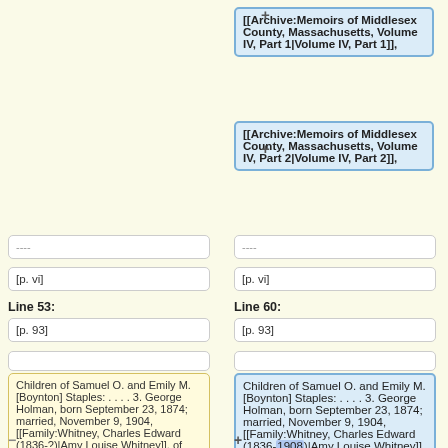[[Archive:Memoirs of Middlesex County, Massachusetts, Volume IV, Part 1|Volume IV, Part 1]],
[[Archive:Memoirs of Middlesex County, Massachusetts, Volume IV, Part 2|Volume IV, Part 2]],
----
----
[p. vi]
[p. vi]
Line 53:
Line 60:
[p. 93]
[p. 93]
Children of Samuel O. and Emily M. [Boynton] Staples: . . . . 3. George Holman, born September 23, 1874; married, November 9, 1904, [[Family:Whitney, Charles Edward (1836-?)|Amy Louise Whitney]], of Milford; no issue. . . .
Children of Samuel O. and Emily M. [Boynton] Staples: . . . . 3. George Holman, born September 23, 1874; married, November 9, 1904, [[Family:Whitney, Charles Edward (1836-1908)|Amy Louise Whitney]], of Milford; no issue. . . .